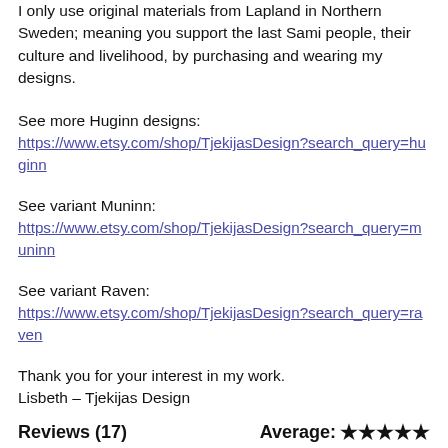I only use original materials from Lapland in Northern Sweden; meaning you support the last Sami people, their culture and livelihood, by purchasing and wearing my designs.
See more Huginn designs:
https://www.etsy.com/shop/TjekijasDesign?search_query=huginn
See variant Muninn:
https://www.etsy.com/shop/TjekijasDesign?search_query=muninn
See variant Raven:
https://www.etsy.com/shop/TjekijasDesign?search_query=raven
Thank you for your interest in my work.
Lisbeth – Tjekijas Design
Reviews (17)   Average: ★★★★★